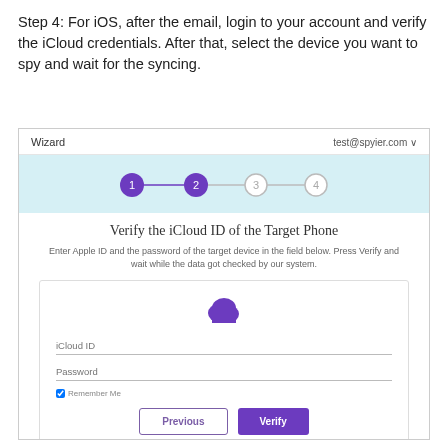Step 4: For iOS, after the email, login to your account and verify the iCloud credentials. After that, select the device you want to spy and wait for the syncing.
[Figure (screenshot): Screenshot of a wizard interface showing step 4 of 4, with a form to verify iCloud ID of the Target Phone. Shows cloud icon, iCloud ID and Password fields, Remember Me checkbox, and Previous/Verify buttons.]